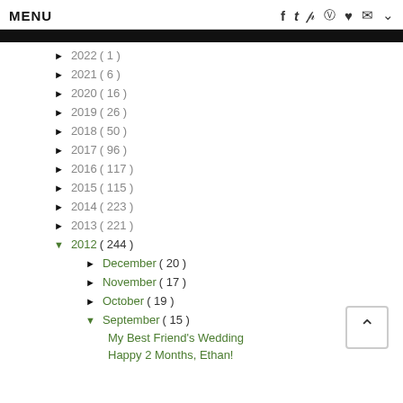MENU  f  t  p  (instagram)  (heart)  (mail)  v
► 2022 ( 1 )
► 2021 ( 6 )
► 2020 ( 16 )
► 2019 ( 26 )
► 2018 ( 50 )
► 2017 ( 96 )
► 2016 ( 117 )
► 2015 ( 115 )
► 2014 ( 223 )
► 2013 ( 221 )
▼ 2012 ( 244 )
► December ( 20 )
► November ( 17 )
► October ( 19 )
▼ September ( 15 )
My Best Friend's Wedding
Happy 2 Months, Ethan!